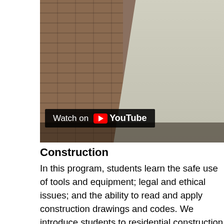[Figure (photo): A YouTube video thumbnail showing a person in a grey t-shirt standing in front of a brick wall, with a 'Watch on YouTube' overlay button at the bottom left.]
Construction
In this program, students learn the safe use of tools and equipment; legal and ethical issues; and the ability to read and apply construction drawings and codes. We introduce students to residential construction including site layout, concrete and masonry, and floor layout. Students also learn framing, roofing, plumbing, electrical, installation of doors and windows, and application of finish and trim work. Our advanced courses offer training in all areas with an emphasis on blue print reading, communication skills, leadership skills, and conducting a job